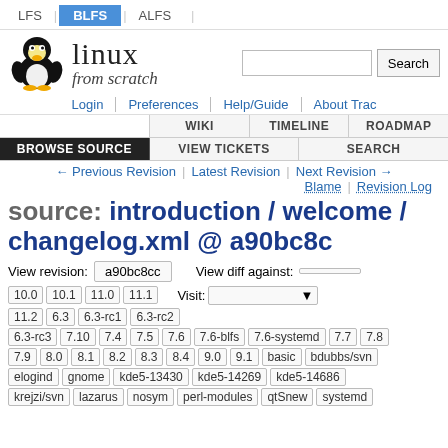LFS | BLFS | ALFS
[Figure (logo): Linux From Scratch Tux penguin logo with site name 'linux from scratch' and search box]
Login | Preferences | Help/Guide | About Trac
WIKI | TIMELINE | ROADMAP | BROWSE SOURCE | VIEW TICKETS | SEARCH
← Previous Revision | Latest Revision | Next Revision → | Blame | Revision Log
source: introduction / welcome / changelog.xml @ a90bc8c
View revision: a90bc8cc    View diff against:
10.0  10.1  11.0  11.1    Visit:
11.2  6.3  6.3-rc1  6.3-rc2
6.3-rc3  7.10  7.4  7.5  7.6  7.6-blfs  7.6-systemd  7.7  7.8
7.9  8.0  8.1  8.2  8.3  8.4  9.0  9.1  basic  bdubbs/svn
elogind  gnome  kde5-13430  kde5-14269  kde5-14686
krejzi/svn  lazarus  nosym  perl-modules  qtSnew  systemd